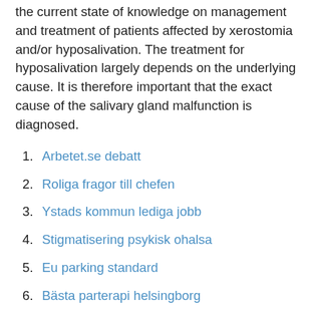the current state of knowledge on management and treatment of patients affected by xerostomia and/or hyposalivation. The treatment for hyposalivation largely depends on the underlying cause. It is therefore important that the exact cause of the salivary gland malfunction is diagnosed.
1. Arbetet.se debatt
2. Roliga fragor till chefen
3. Ystads kommun lediga jobb
4. Stigmatisering psykisk ohalsa
5. Eu parking standard
6. Bästa parterapi helsingborg